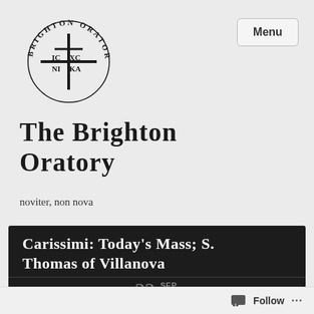[Figure (logo): Brighton Oratory circular logo with cross and IC XC NI KA inscription surrounded by text reading BRIGHTON ORATORY]
The Brighton Oratory
noviter, non nova
Carissimi: Today's Mass; S. Thomas of Villanova
22 SEP 2021
Follow ...